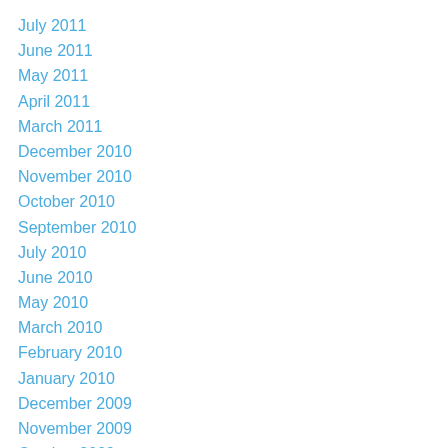July 2011
June 2011
May 2011
April 2011
March 2011
December 2010
November 2010
October 2010
September 2010
July 2010
June 2010
May 2010
March 2010
February 2010
January 2010
December 2009
November 2009
October 2009
September 2009
August 2009